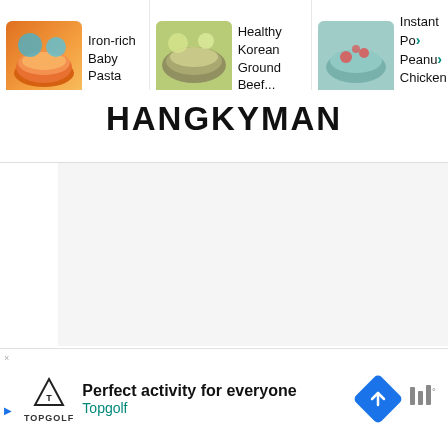[Figure (screenshot): Recipe recommendation bar at top with three recipe cards: Iron-rich Baby Pasta, Healthy Korean Ground Beef..., and Instant Pot Peanut Chicken ar...]
HANGKYMAN
[Figure (screenshot): Main white game area for Hangkyman word game, with upvote button (chevron up), vote count 374, heart/like button, and teal search button on the right side]
[Figure (screenshot): Ad banner at bottom: Topgolf logo, text 'Perfect activity for everyone', 'Topgolf', blue navigation diamond icon, weather icon]